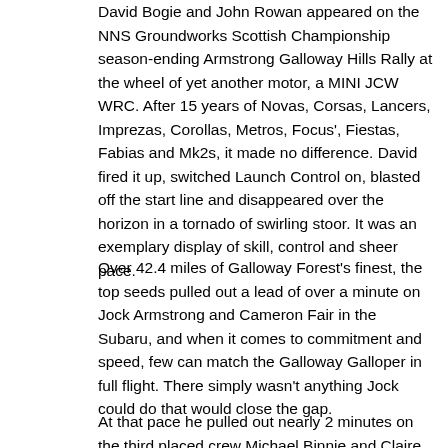David Bogie and John Rowan appeared on the NNS Groundworks Scottish Championship season-ending Armstrong Galloway Hills Rally at the wheel of yet another motor, a MINI JCW WRC. After 15 years of Novas, Corsas, Lancers, Imprezas, Corollas, Metros, Focus', Fiestas, Fabias and Mk2s, it made no difference. David fired it up, switched Launch Control on, blasted off the start line and disappeared over the horizon in a tornado of swirling stoor. It was an exemplary display of skill, control and sheer pace.
Over 42.4 miles of Galloway Forest's finest, the top seeds pulled out a lead of over a minute on Jock Armstrong and Cameron Fair in the Subaru, and when it comes to commitment and speed, few can match the Galloway Galloper in full flight. There simply wasn't anything Jock could do that would close the gap.
At that pace he pulled out nearly 2 minutes on the third placed crew Michael Binnie and Claire Mole whose equally impressive pace pitched them on to the podium for the first time this year. The Mitsubishi Lancer Evo 9 has given an impressive...